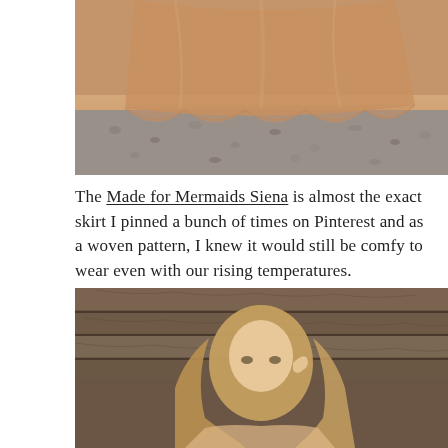[Figure (photo): Close-up overhead view of a golden/peach flowy skirt hem fanned out on a gravel surface]
The Made for Mermaids Siena is almost the exact skirt I pinned a bunch of times on Pinterest and as a woven pattern, I knew it would still be comfy to wear even with our rising temperatures.
One of my favorite woven fabrics is Rayon Challis and the Honey Gold color from Fabmere Fabrics was spot on for what I had envisioned.
[Figure (photo): Woman with long blonde hair standing in front of a rustic wooden plank wall, touching her hair and looking sideways]